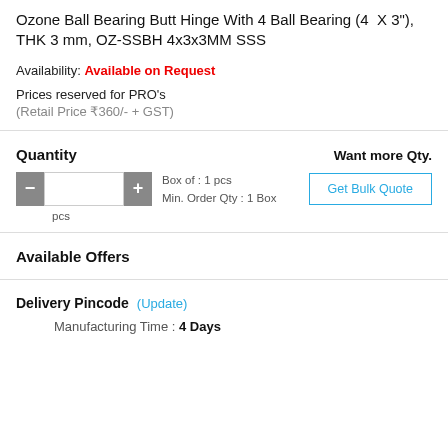Ozone Ball Bearing Butt Hinge With 4 Ball Bearing (4 X 3"), THK 3 mm, OZ-SSBH 4x3x3MM SSS
Availability: Available on Request
Prices reserved for PRO's
(Retail Price ₹360/- + GST)
Quantity
Want more Qty.
Box of : 1 pcs
Min. Order Qty : 1 Box
pcs
Get Bulk Quote
Available Offers
Delivery Pincode  (Update)
Manufacturing Time : 4 Days